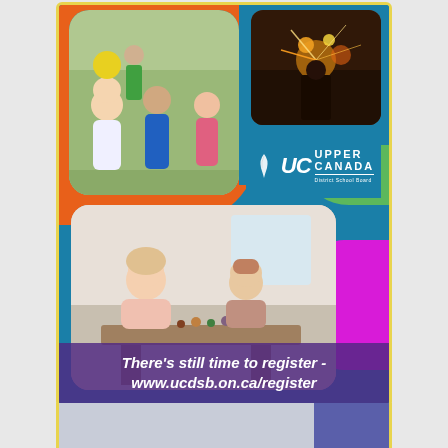[Figure (photo): Upper Canada District School Board promotional poster showing children playing and doing activities, with colored background shapes in orange, blue, green, and magenta. Contains school board logo and registration call-to-action text overlay.]
There's still time to register - www.ucdsb.on.ca/register
[Figure (photo): Bottom partial strip showing a light grey/blue background with a purple/blue rectangle on the right side.]